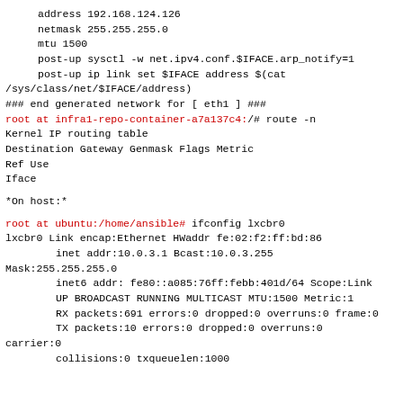address 192.168.124.126
    netmask 255.255.255.0
    mtu 1500
    post-up sysctl -w net.ipv4.conf.$IFACE.arp_notify=1
    post-up ip link set $IFACE address $(cat
/sys/class/net/$IFACE/address)
### end generated network for [ eth1 ] ###
root at infra1-repo-container-a7a137c4:/# route -n
Kernel IP routing table
Destination     Gateway         Genmask         Flags Metric
Ref     Use
Iface
*On host:*
root at ubuntu:/home/ansible# ifconfig lxcbr0
lxcbr0      Link encap:Ethernet  HWaddr fe:02:f2:ff:bd:86
        inet addr:10.0.3.1  Bcast:10.0.3.255
Mask:255.255.255.0
        inet6 addr: fe80::a085:76ff:febb:401d/64 Scope:Link
        UP BROADCAST RUNNING MULTICAST  MTU:1500  Metric:1
        RX packets:691 errors:0 dropped:0 overruns:0 frame:0
        TX packets:10 errors:0 dropped:0 overruns:0
carrier:0
        collisions:0 txqueuelen:1000